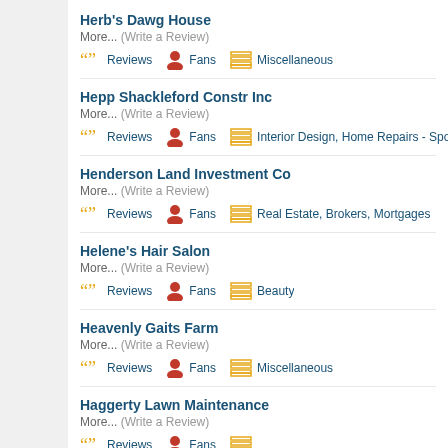Herb's Dawg House
More... (Write a Review)
Reviews  Fans  Miscellaneous
Hepp Shackleford Constr Inc
More... (Write a Review)
Reviews  Fans  Interior Design, Home Repairs - Sponsored by SE
Henderson Land Investment Co
More... (Write a Review)
Reviews  Fans  Real Estate, Brokers, Mortgages
Helene's Hair Salon
More... (Write a Review)
Reviews  Fans  Beauty
Heavenly Gaits Farm
More... (Write a Review)
Reviews  Fans  Miscellaneous
Haggerty Lawn Maintenance
More... (Write a Review)
Reviews  Fans